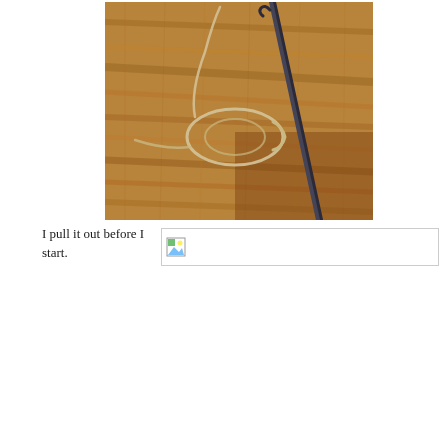[Figure (photo): A crochet hook resting on a wooden table surface, with a loop of twine or yarn knotted around it, showing the beginning of a crochet slip knot.]
I pull it out before I start.
[Figure (photo): Broken/missing image placeholder shown as a small image icon with border.]